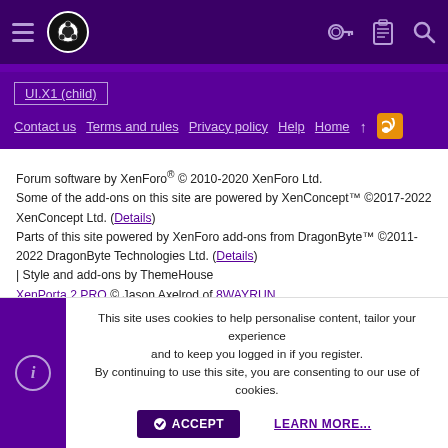Football Manager forum navigation header with hamburger menu, logo, and icons (key, clipboard, search)
UI.X1 (child)
Contact us  Terms and rules  Privacy policy  Help  Home  ↑  RSS
Forum software by XenForo® © 2010-2020 XenForo Ltd.
Some of the add-ons on this site are powered by XenConcept™ ©2017-2022 XenConcept Ltd. (Details)
Parts of this site powered by XenForo add-ons from DragonByte™ ©2011-2022 DragonByte Technologies Ltd. (Details)
| Style and add-ons by ThemeHouse
XenPorta 2 PRO © Jason Axelrod of 8WAYRUN
[Figure (other): Social media icons: Twitch, Twitter, YouTube]
This site uses cookies to help personalise content, tailor your experience and to keep you logged in if you register.
By continuing to use this site, you are consenting to our use of cookies.
ACCEPT   LEARN MORE...